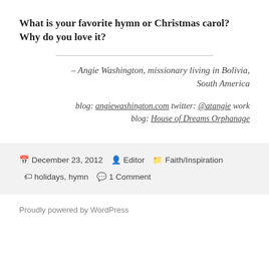What is your favorite hymn or Christmas carol? Why do you love it?
– Angie Washington, missionary living in Bolivia, South America
blog: angiewashington.com twitter: @atangie work blog: House of Dreams Orphanage
December 23, 2012   Editor   Faith/Inspiration   holidays, hymn   1 Comment
Proudly powered by WordPress